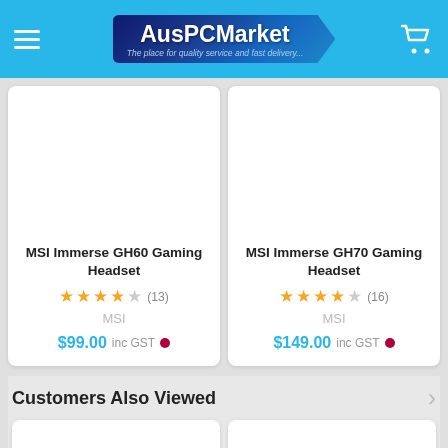AusPCMarket – The place for quality service and fast delivery...
[Figure (screenshot): MSI Immerse GH60 Gaming Headset product card with 3.5/5 stars (13 reviews), brand MSI, price $99.00 inc GST]
[Figure (screenshot): MSI Immerse GH70 Gaming Headset product card with 3.5/5 stars (16 reviews), brand MSI, price $149.00 inc GST]
Customers Also Viewed